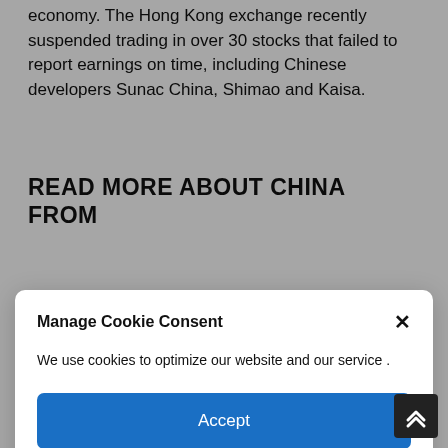economy. The Hong Kong exchange recently suspended trading in over 30 stocks that failed to report earnings on time, including Chinese developers Sunac China, Shimao and Kaisa.
READ MORE ABOUT CHINA FROM
...added that the near-term outlook for growth continues to deteriorate, with high oil prices, renewed lockdowns and other factors threatening earnings growth.
"What's more, even if domestic policymaking does...
[Figure (screenshot): Cookie consent modal overlay with title 'Manage Cookie Consent', body text 'We use cookies to optimize our website and our service .', an Accept button, and a Cookie Policy link. A close (X) button is in the top right corner.]